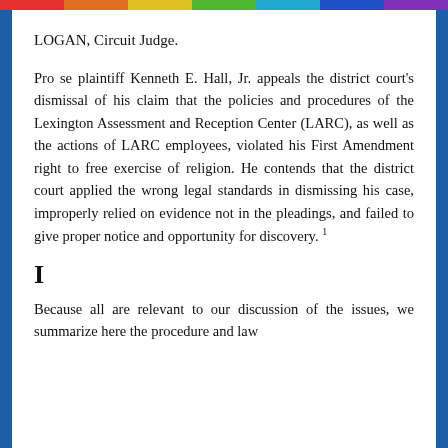LOGAN, Circuit Judge.
Pro se plaintiff Kenneth E. Hall, Jr. appeals the district court's dismissal of his claim that the policies and procedures of the Lexington Assessment and Reception Center (LARC), as well as the actions of LARC employees, violated his First Amendment right to free exercise of religion. He contends that the district court applied the wrong legal standards in dismissing his case, improperly relied on evidence not in the pleadings, and failed to give proper notice and opportunity for discovery. 1
I
Because all are relevant to our discussion of the issues, we summarize here the procedure and law